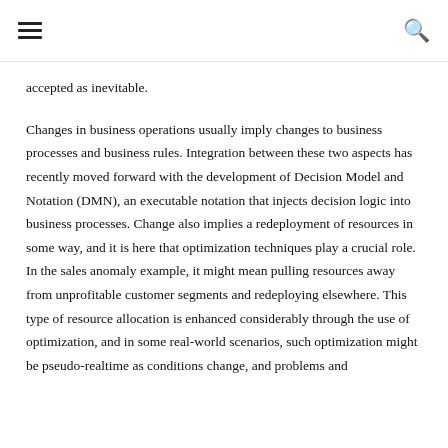≡  🔍
accepted as inevitable.
Changes in business operations usually imply changes to business processes and business rules. Integration between these two aspects has recently moved forward with the development of Decision Model and Notation (DMN), an executable notation that injects decision logic into business processes. Change also implies a redeployment of resources in some way, and it is here that optimization techniques play a crucial role. In the sales anomaly example, it might mean pulling resources away from unprofitable customer segments and redeploying elsewhere. This type of resource allocation is enhanced considerably through the use of optimization, and in some real-world scenarios, such optimization might be pseudo-realtime as conditions change, and problems and